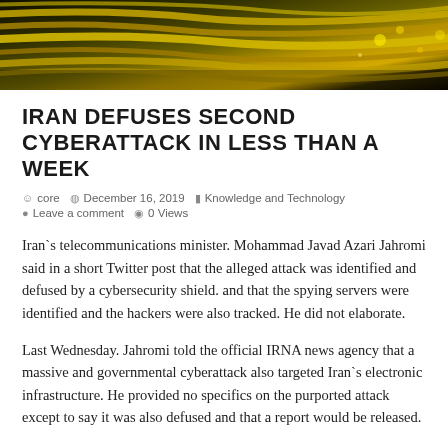[Figure (photo): Header image showing yellow/gold network cables or fiber optic wires against a dark background with bokeh lighting effects.]
IRAN DEFUSES SECOND CYBERATTACK IN LESS THAN A WEEK
core   December 16, 2019   Knowledge and Technology   Leave a comment   0 Views
Iran`s telecommunications minister. Mohammad Javad Azari Jahromi said in a short Twitter post that the alleged attack was identified and defused by a cybersecurity shield. and that the spying servers were identified and the hackers were also tracked. He did not elaborate.
Last Wednesday. Jahromi told the official IRNA news agency that a massive and governmental cyberattack also targeted Iran`s electronic infrastructure. He provided no specifics on the purported attack except to say it was also defused and that a report would be released.